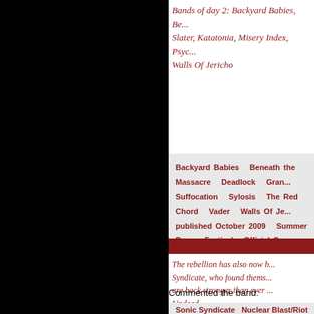Bands of day 2: Backyard Babies, Be... Slater, Katatonia, Misery Index, Psyc... Walls Of Jericho
Backyard Babies   Beneath the Massacre   Deadlock   Grand... Suffocation   Sylosis   The Red Chord   Vader   Walls Of Je... published October 2009   Summer Breeze Festival   Official C...
The rebellion has also now b... Syndicate, who found thems... are back stronger than ever ... Undead.
Commented the band:
Sonic Syndicate   Nuclear Blast/Riot   Riot! Entertainment